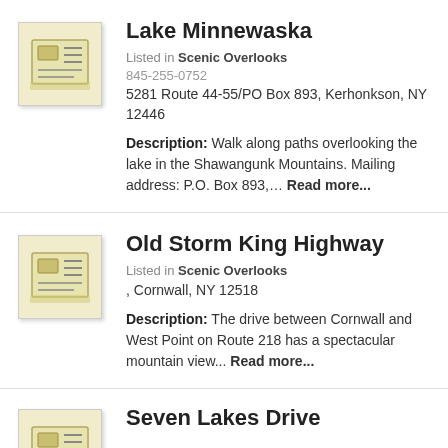Lake Minnewaska
Listed in Scenic Overlooks
845-255-0752
5281 Route 44-55/PO Box 893, Kerhonkson, NY 12446
Description: Walk along paths overlooking the lake in the Shawangunk Mountains. Mailing address: P.O. Box 893,… Read more...
Old Storm King Highway
Listed in Scenic Overlooks
, Cornwall, NY 12518
Description: The drive between Cornwall and West Point on Route 218 has a spectacular mountain view... Read more...
Seven Lakes Drive